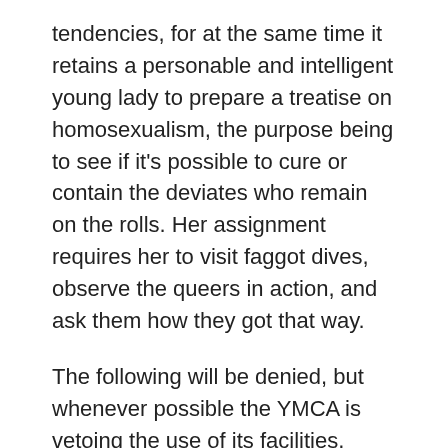tendencies, for at the same time it retains a personable and intelligent young lady to prepare a treatise on homosexualism, the purpose being to see if it's possible to cure or contain the deviates who remain on the rolls. Her assignment requires her to visit faggot dives, observe the queers in action, and ask them how they got that way.
The following will be denied, but whenever possible the YMCA is vetoing the use of its facilities, especially the swimming-pool, to all State Department employees, just to be on the safe side.
A man of almost cabinet rank in the Defense Department is also a pervert, with bivalent tendencies, a two-way performer.
These are no isolated incidents. The government is honeycombed in high places with people you wouldn't let